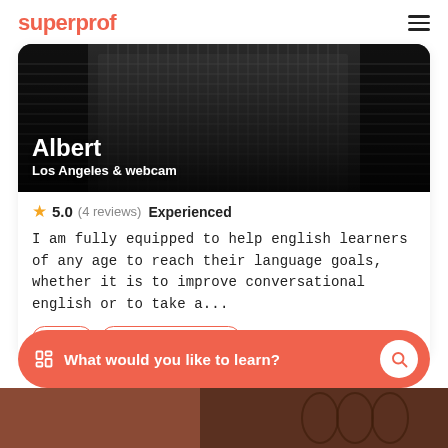superprof
[Figure (photo): Profile photo of Albert, a tutor wearing a checkered shirt, in black and white style]
Albert
Los Angeles & webcam
5.0 (4 reviews) Experienced
I am fully equipped to help english learners of any age to reach their language goals, whether it is to improve conversational english or to take a...
$20/h  🎁 1st lesson free
What would you like to learn?
[Figure (photo): Partial bottom image visible at very bottom of page]